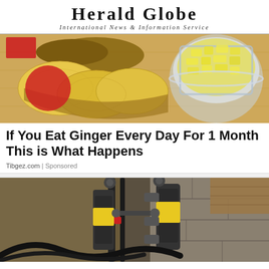Herald Globe
International News & Information Service
[Figure (photo): Photo of sliced ginger root pieces on a wooden surface next to a glass bowl filled with chopped ginger. Two red circular/rectangular shapes visible on the left side (likely watermark or label).]
If You Eat Ginger Every Day For 1 Month This is What Happens
Tibgez.com | Sponsored
[Figure (photo): Photo of construction/foundation repair equipment showing yellow hydraulic cylinders/pistons attached to pipes mounted against a concrete block wall, with soil/earth excavation visible and cables/hoses on the ground.]